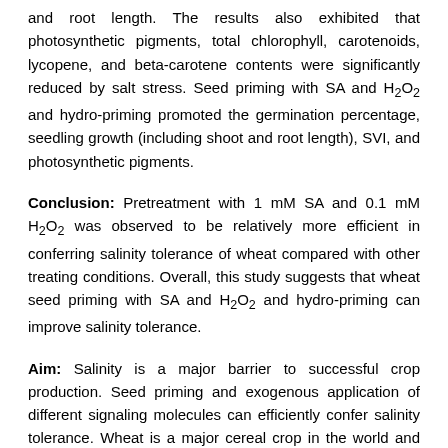and root length. The results also exhibited that photosynthetic pigments, total chlorophyll, carotenoids, lycopene, and beta-carotene contents were significantly reduced by salt stress. Seed priming with SA and H2O2 and hydro-priming promoted the germination percentage, seedling growth (including shoot and root length), SVI, and photosynthetic pigments.
Conclusion: Pretreatment with 1 mM SA and 0.1 mM H2O2 was observed to be relatively more efficient in conferring salinity tolerance of wheat compared with other treating conditions. Overall, this study suggests that wheat seed priming with SA and H2O2 and hydro-priming can improve salinity tolerance.
Aim: Salinity is a major barrier to successful crop production. Seed priming and exogenous application of different signaling molecules can efficiently confer salinity tolerance. Wheat is a major cereal crop in the world and salinity drastically reduces the wheat seedling growth and yield. Therefore, the present study was conducted to explore the potentiality of